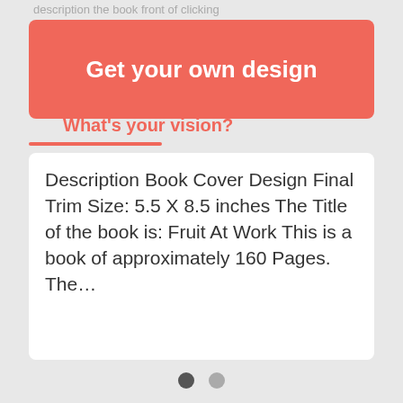description the book front of clicking
[Figure (other): Red salmon-colored banner button with white bold text: Get your own design]
What's your vision?
Description Book Cover Design Final Trim Size: 5.5 X 8.5 inches The Title of the book is: Fruit At Work This is a book of approximately 160 Pages. The...